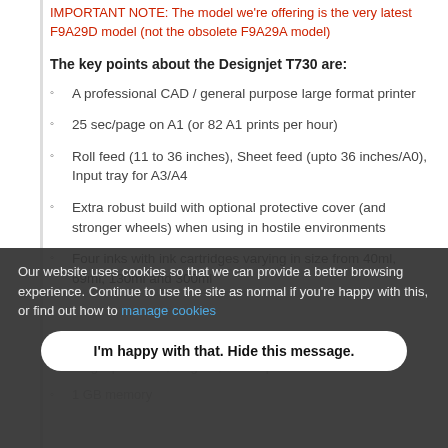IMPORTANT NOTE: The model we're offering is the very latest F9A29D model (not the obsolete F9A29A model)
The key points about the Designjet T730 are:
A professional CAD / general purpose large format printer
25 sec/page on A1 (or 82 A1 prints per hour)
Roll feed (11 to 36 inches), Sheet feed (upto 36 inches/A0), Input tray for A3/A4
Extra robust build with optional protective cover (and stronger wheels) when using in hostile environments
Four inks with ink cartridges varying in size from 40ml, 69ml, 130ml and 300ml
Up to 2400 dpi x 1200 optimised DPI
Single printhead, long life, user replaceable
1 GB memory
Our website uses cookies so that we can provide a better browsing experience. Continue to use the site as normal if you're happy with this, or find out how to manage cookies
I'm happy with that. Hide this message.